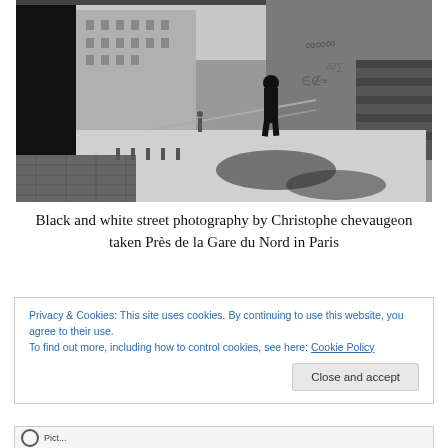[Figure (photo): Black and white street photograph taken near Gare du Nord in Paris. Shows a skateboarder or person on a railing near stairs, with a long Haussmann-style building facade visible in the background, shadows on the ground, and graffiti on a wall to the right.]
Black and white street photography by Christophe chevaugeon taken Près de la Gare du Nord in Paris
Privacy & Cookies: This site uses cookies. By continuing to use this website, you agree to their use.
To find out more, including how to control cookies, see here: Cookie Policy
Close and accept